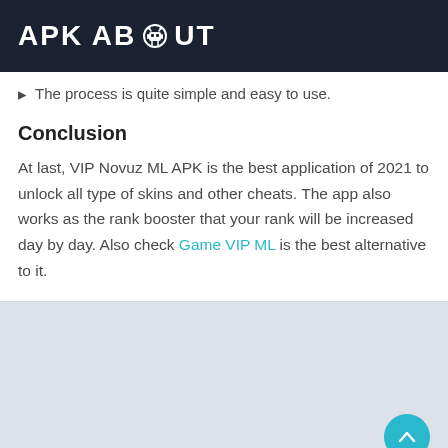APK ABOUT
The process is quite simple and easy to use.
Conclusion
At last, VIP Novuz ML APK is the best application of 2021 to unlock all type of skins and other cheats. The app also works as the rank booster that your rank will be increased day by day. Also check Game VIP ML is the best alternative to it.